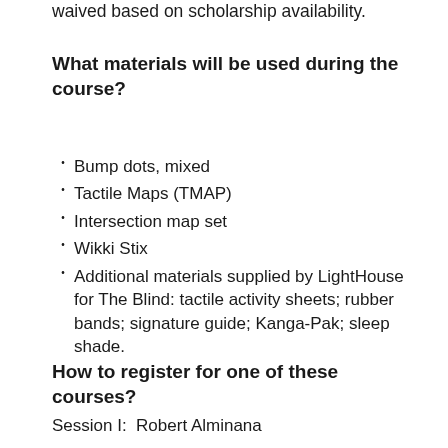waived based on scholarship availability.
What materials will be used during the course?
Bump dots, mixed
Tactile Maps (TMAP)
Intersection map set
Wikki Stix
Additional materials supplied by LightHouse for The Blind: tactile activity sheets; rubber bands; signature guide; Kanga-Pak; sleep shade.
How to register for one of these courses?
Session I:  Robert Alminana